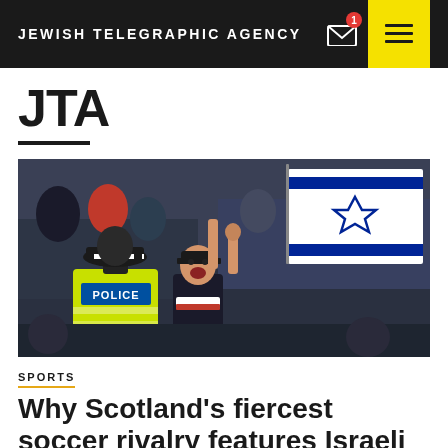JEWISH TELEGRAPHIC AGENCY
JTA
[Figure (photo): A soccer fan holding an Israeli flag aloft with one arm raised, cheering in a crowd at a stadium. A police officer in a high-visibility yellow jacket with 'POLICE' on the back stands in the foreground. The crowd is dense in the background.]
SPORTS
Why Scotland's fiercest soccer rivalry features Israeli vs. Palestinian